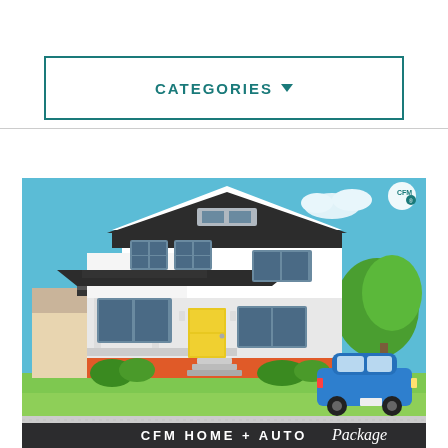CATEGORIES ▾
[Figure (illustration): Illustrated suburban house with two stories, white and grey exterior, yellow front door, orange brick foundation accents, green trees, blue sky with clouds, and a blue car parked in the driveway. CFM logo in top right corner. Bottom text reads 'CFM HOME + AUTO Package']